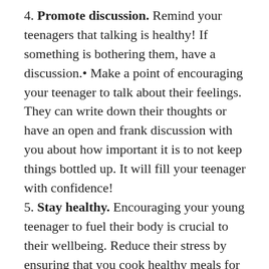4. Promote discussion. Remind your teenagers that talking is healthy! If something is bothering them, have a discussion.• Make a point of encouraging your teenager to talk about their feelings. They can write down their thoughts or have an open and frank discussion with you about how important it is to not keep things bottled up. It will fill your teenager with confidence!
5. Stay healthy. Encouraging your young teenager to fuel their body is crucial to their wellbeing. Reduce their stress by ensuring that you cook healthy meals for them full of nutrition and goodness. Sleep is crucial too!• Making sure that your teenager has enough sleep is crucial to both their mental development and their physical wellbeing. A